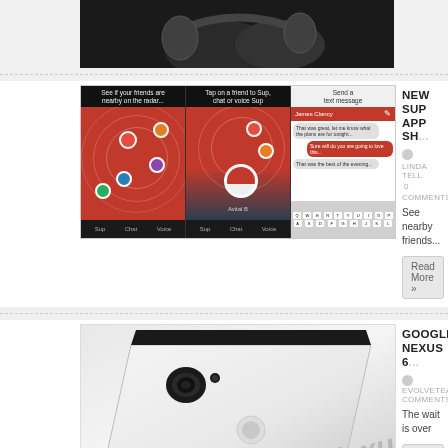[Figure (photo): Partial view of headphone/device photo, dark background, top of page]
[Figure (screenshot): Three screenshots of Sup app showing radar friends view, tap-to-chat view, and text message view]
NEW SUP APP SH...
LINDA TELL   0 COMMENTS
See nearby friends...
Read More »
[Figure (photo): Google Nexus 6P phone, silver/white back, shown at angle with camera and fingerprint sensor visible, Nexus branding text]
GOOGLE NEXUS 6...
EVOLVETEAM   COMMENTS
The wait is over
Read More »